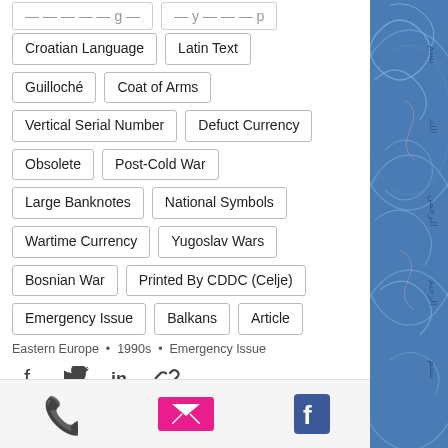Croatian Language
Latin Text
Guilloché
Coat of Arms
Vertical Serial Number
Defuct Currency
Obsolete
Post-Cold War
Large Banknotes
National Symbols
Wartime Currency
Yugoslav Wars
Bosnian War
Printed By CDDC (Celje)
Emergency Issue
Balkans
Article
Eastern Europe • 1990s • Emergency Issue
[Figure (other): Social share icons: Facebook, Twitter, LinkedIn, Link]
[Figure (other): Contact/action icons: Phone (green), Email (pink/magenta), Facebook (blue)]
[Figure (photo): Decorative banknote pattern on right side, blue guilloché design with Arabic/ornamental script]